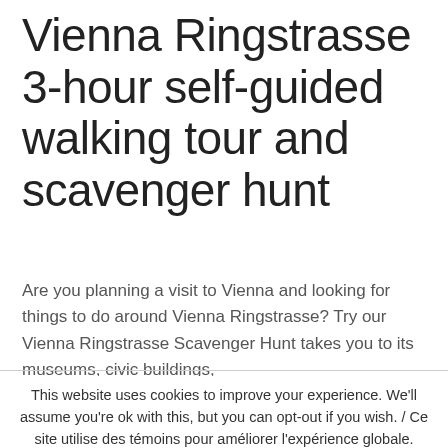Vienna Ringstrasse 3-hour self-guided walking tour and scavenger hunt
Are you planning a visit to Vienna and looking for things to do around Vienna Ringstrasse? Try our Vienna Ringstrasse Scavenger Hunt takes you to its museums, civic buildings,
This website uses cookies to improve your experience. We'll assume you're ok with this, but you can opt-out if you wish. / Ce site utilise des témoins pour améliorer l'expérience globale. Étant basé en Amérique du Nord, nous assumons que cela vous convient, mais vous pouvez vous en retirer à votre guise.
Accept / Accepte
Reject / Refus
Read More / En savoir plus